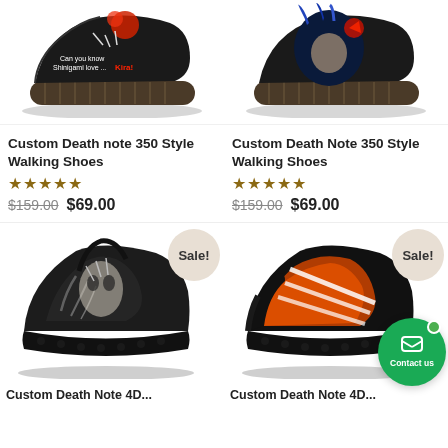[Figure (photo): Custom Death note 350 Style Walking Shoe - dark/black sneaker with red and white text graphic, left shoe]
Custom Death note 350 Style Walking Shoes
★★★★★
$159.00 $69.00
[Figure (photo): Custom Death Note 350 Style Walking Shoe - dark/black sneaker with anime character graphic, right shoe]
Custom Death Note 350 Style Walking Shoes
★★★★★
$159.00 $69.00
[Figure (photo): Custom Death Note 4D... - black sneaker with dark smoky anime graphic, Sale badge]
[Figure (photo): Custom Death Note 4D... - black sneaker with red/orange gradient and white stripes, Sale badge, Contact us button]
Custom Death Note 4D...
Custom Death Note 4D...